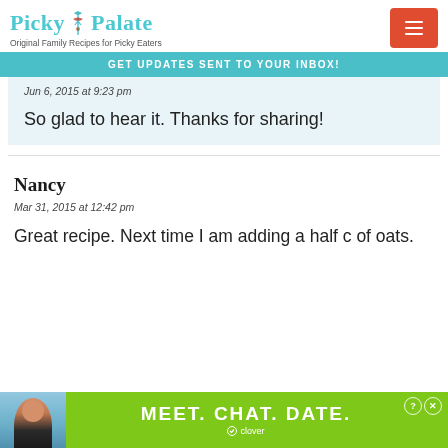Picky Palate — Original Family Recipes for Picky Eaters
GET UPDATES SENT TO YOUR INBOX!
Jun 6, 2015 at 9:23 pm
So glad to hear it. Thanks for sharing!
Nancy
Mar 31, 2015 at 12:42 pm
Great recipe. Next time I am adding a half c of oats.
[Figure (screenshot): Advertisement banner for Clover dating app: MEET. CHAT. DATE.]